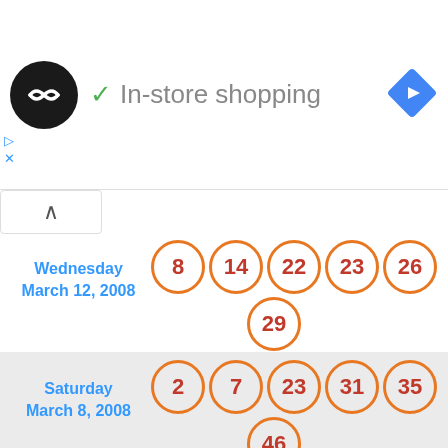[Figure (screenshot): Ad banner with circular logo, 'In-store shopping' text with checkmark, and blue navigation diamond icon]
| Date | Numbers |
| --- | --- |
| Wednesday March 12, 2008 | 8, 14, 22, 23, 26 + 29 |
| Saturday March 8, 2008 | 2, 7, 23, 31, 35 + 46 |
| Wednesday March 5, 2008 | 3, 4, 10, 12, 28 + 36 |
| Saturday March 1, 2008 | 11, 17, 23, 41, 47 + 49 |